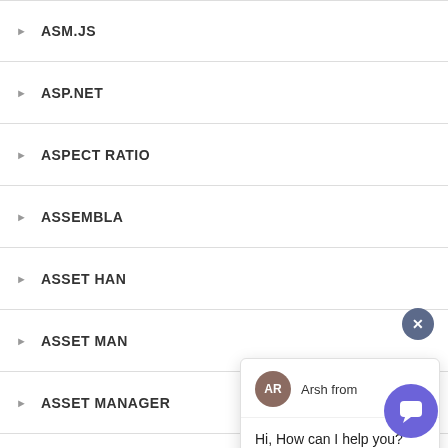ASM.JS
ASP.NET
ASPECT RATIO
ASSEMBLA
ASSET HAN
ASSET MAN
ASSET MANAGER
ASSETIC
ASSETS
[Figure (screenshot): Chat popup with agent avatar 'AR' (Arsh from), message 'Hi, How can I help you?', input field 'Type your message', and send button. Also shows X close button and purple chat bubble button.]